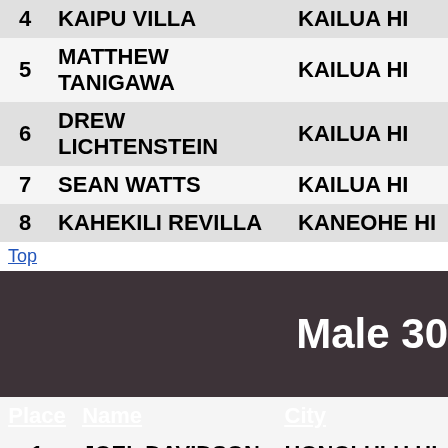| Place | Name | City |
| --- | --- | --- |
| 4 | KAIPU VILLA | KAILUA HI |
| 5 | MATTHEW TANIGAWA | KAILUA HI |
| 6 | DREW LICHTENSTEIN | KAILUA HI |
| 7 | SEAN WATTS | KAILUA HI |
| 8 | KAHEKILI REVILLA | KANEOHE HI |
Top
Male 30
| Place | Name | City |
| --- | --- | --- |
| 1 | JOEL DAVIDSON | HONOLULU HI |
| 2 | TRAVIS COPELAND | AIEA HI |
| 3 | CHANCE CARTER | KAILUA HI |
| 4 | TAYLOR KIRIHARA | HONOLULU HI |
| 5 | MATHIAS ROEHRMANN | MAGDEBURG S |
| 6 | BOBBY BANNISTER | KAILUA HI |
| 7 | ALAN TEXEIRA | WAIMANALO H |
| 8 | JAMES TROGDEN III | HONOLULU HI |